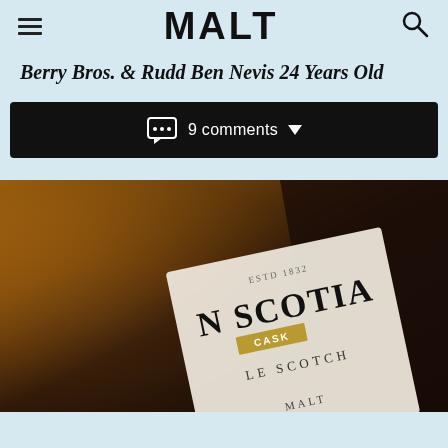MALT
Berry Bros. & Rudd Ben Nevis 24 Years Old
9 comments
[Figure (photo): Close-up photo of a whisky bottle label reading 'N SCOTIA, ESTD 1832, CASK, LE SCOTCH, MALT' against a warm amber/dark background]